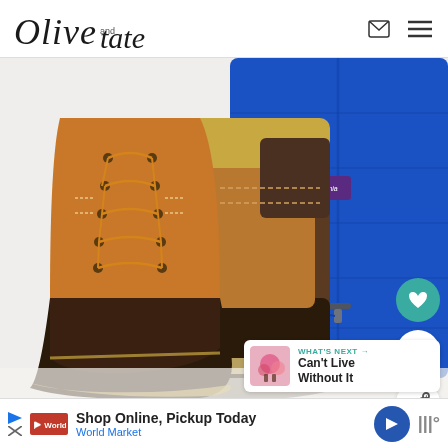Olive and Tate
[Figure (photo): Flatlay photo showing two LL Bean duck boots (brown rubber sole, tan leather upper with lace-up detailing) on the left, and a bright blue Patagonia puffer jacket on the right, against a white background. Overlay elements include a teal heart button, share button, number '1', and a 'What's Next - Can't Live Without It' thumbnail card.]
WHAT'S NEXT → Can't Live Without It
Shop Online, Pickup Today
World Market